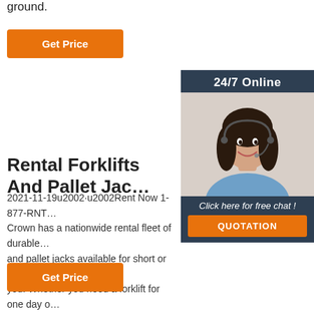ground.
Get Price
[Figure (illustration): Customer service representative with headset, 24/7 Online chat widget with QUOTATION button]
Rental Forklifts And Pallet Jac…
2021-11-19u2002·u2002Rent Now 1-877-RNT… Crown has a nationwide rental fleet of durable… and pallet jacks available for short or long term… you. Whether you need a forklift for one day o… Crown has a rental solution for you. Contact us now!
Get Price